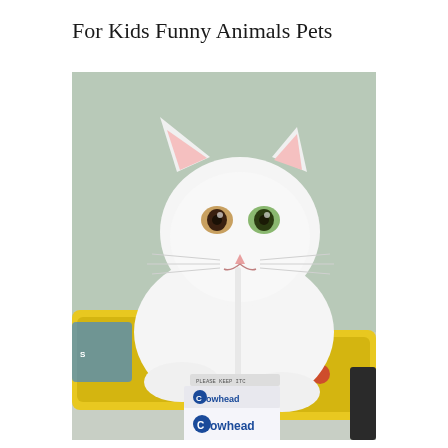For Kids Funny Animals Pets
[Figure (photo): A white kitten with heterochromatic eyes drinking from a small Cowhead milk carton using a straw, surrounded by yellow snack bags on a table.]